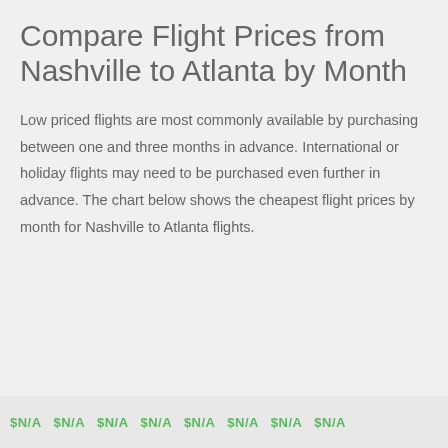Compare Flight Prices from Nashville to Atlanta by Month
Low priced flights are most commonly available by purchasing between one and three months in advance. International or holiday flights may need to be purchased even further in advance. The chart below shows the cheapest flight prices by month for Nashville to Atlanta flights.
[Figure (other): Bottom strip showing partial month labels in green, likely the bottom axis labels of a bar chart showing flight prices by month]